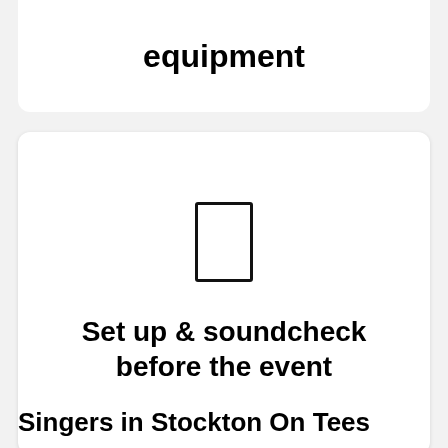equipment
[Figure (illustration): A simple rectangle icon representing a mobile device or card]
Set up & soundcheck before the event
Singers in Stockton On Tees